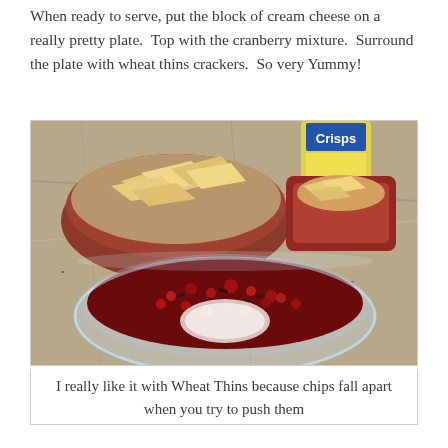When ready to serve, put the block of cream cheese on a really pretty plate.  Top with the cranberry mixture.  Surround the plate with wheat thins crackers.  So very Yummy!
[Figure (photo): A photo showing a glass bowl with cranberry mixture and cream cheese topped dish surrounded by chips, with red bowls of chips in the background and a Crisps package visible.]
I really like it with Wheat Thins because chips fall apart when you try to push them